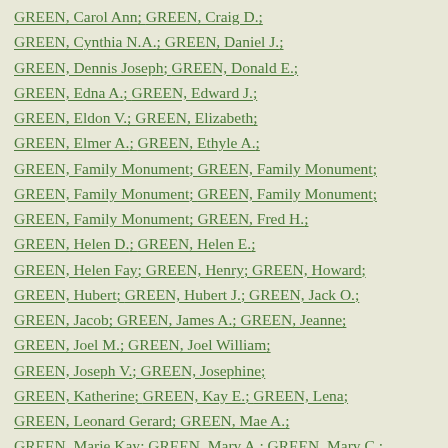GREEN, Carol Ann; GREEN, Craig D.;
GREEN, Cynthia N.A.; GREEN, Daniel J.;
GREEN, Dennis Joseph; GREEN, Donald E.;
GREEN, Edna A.; GREEN, Edward J.;
GREEN, Eldon V.; GREEN, Elizabeth;
GREEN, Elmer A.; GREEN, Ethyle A.;
GREEN, Family Monument; GREEN, Family Monument;
GREEN, Family Monument; GREEN, Family Monument;
GREEN, Family Monument; GREEN, Fred H.;
GREEN, Helen D.; GREEN, Helen E.;
GREEN, Helen Fay; GREEN, Henry; GREEN, Howard;
GREEN, Hubert; GREEN, Hubert J.; GREEN, Jack O.;
GREEN, Jacob; GREEN, James A.; GREEN, Jeanne;
GREEN, Joel M.; GREEN, Joel William;
GREEN, Joseph V.; GREEN, Josephine;
GREEN, Katherine; GREEN, Kay E.; GREEN, Lena;
GREEN, Leonard Gerard; GREEN, Mae A.;
GREEN, Marie Kay; GREEN, Mary A.; GREEN, Mary C.;